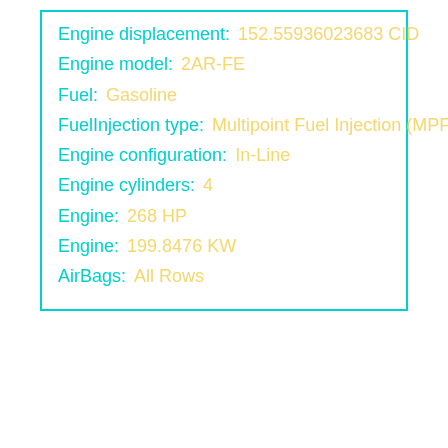| Field | Value |
| --- | --- |
| Engine displacement: | 152.55936023683 CID |
| Engine model: | 2AR-FE |
| Fuel: | Gasoline |
| FuelInjection type: | Multipoint Fuel Injection (MPFI) |
| Engine configuration: | In-Line |
| Engine cylinders: | 4 |
| Engine: | 268 HP |
| Engine: | 199.8476 KW |
| AirBags: | All Rows |